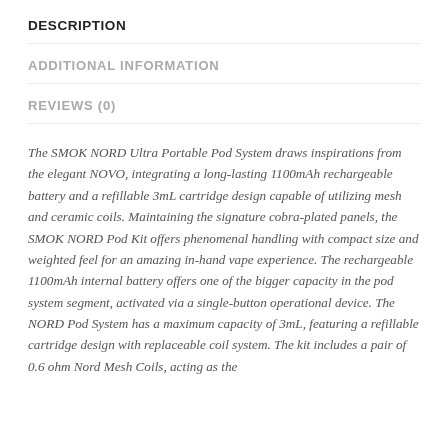DESCRIPTION
ADDITIONAL INFORMATION
REVIEWS (0)
The SMOK NORD Ultra Portable Pod System draws inspirations from the elegant NOVO, integrating a long-lasting 1100mAh rechargeable battery and a refillable 3mL cartridge design capable of utilizing mesh and ceramic coils. Maintaining the signature cobra-plated panels, the SMOK NORD Pod Kit offers phenomenal handling with compact size and weighted feel for an amazing in-hand vape experience. The rechargeable 1100mAh internal battery offers one of the bigger capacity in the pod system segment, activated via a single-button operational device. The NORD Pod System has a maximum capacity of 3mL, featuring a refillable cartridge design with replaceable coil system. The kit includes a pair of 0.6 ohm Nord Mesh Coils, acting as the